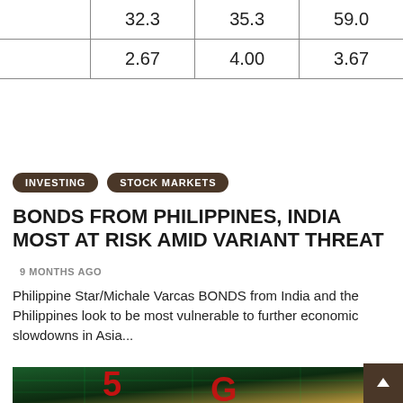|  | 32.3 | 35.3 | 59.0 |
|  | 2.67 | 4.00 | 3.67 |
INVESTING
STOCK MARKETS
BONDS FROM PHILIPPINES, INDIA MOST AT RISK AMID VARIANT THREAT
9 MONTHS AGO
Philippine Star/Michale Varcas BONDS from India and the Philippines look to be most vulnerable to further economic slowdowns in Asia...
[Figure (photo): 5G text in red on a green circuit board background with SIM card visible]